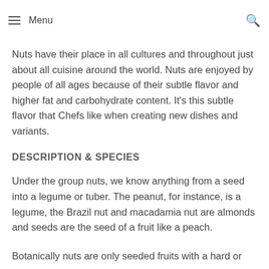Menu
nuts would as how, and was fitted for their simple storage, which allowed people to maintain them for times where food was hard to discover.
Nuts have their place in all cultures and throughout just about all cuisine around the world. Nuts are enjoyed by people of all ages because of their subtle flavor and higher fat and carbohydrate content. It's this subtle flavor that Chefs like when creating new dishes and variants.
DESCRIPTION & SPECIES
Under the group nuts, we know anything from a seed into a legume or tuber. The peanut, for instance, is a legume, the Brazil nut and macadamia nut are almonds and seeds are the seed of a fruit like a peach.
Botanically nuts are only seeded fruits with a hard or